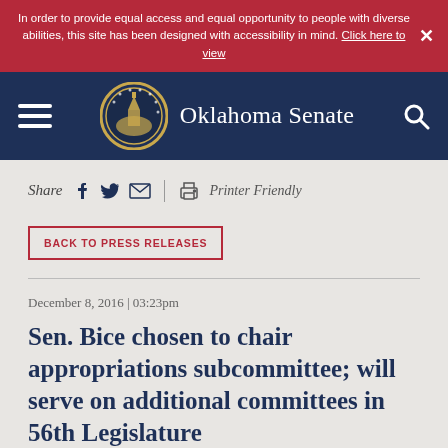In order to provide equal access and equal opportunity to people with diverse abilities, this site has been designed with accessibility in mind. Click here to view
[Figure (logo): Oklahoma Senate navigation bar with hamburger menu, state seal logo, site title 'Oklahoma Senate', and search icon on dark navy background]
Share
Printer Friendly
BACK TO PRESS RELEASES
December 8, 2016 | 03:23pm
Sen. Bice chosen to chair appropriations subcommittee; will serve on additional committees in 56th Legislature